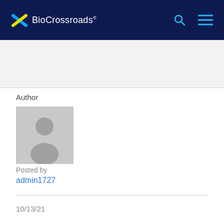BioCrossroads
[Figure (illustration): Gray placeholder avatar silhouette of a person on gray background]
Author
Posted by
admin1727
10/13/21